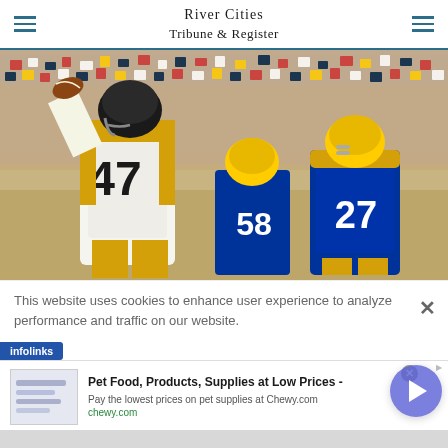River Cities Tribune & Register
[Figure (photo): Football player wearing jersey number 47 in white and gold uniform throwing or celebrating with football, with crowd in background and opposing players including numbers 58 and 27 in blue and gold uniforms]
This website uses cookies to enhance user experience to analyze performance and traffic on our website.
infolinks
Pet Food, Products, Supplies at Low Prices -
Pay the lowest prices on pet supplies at Chewy.com
chewy.com